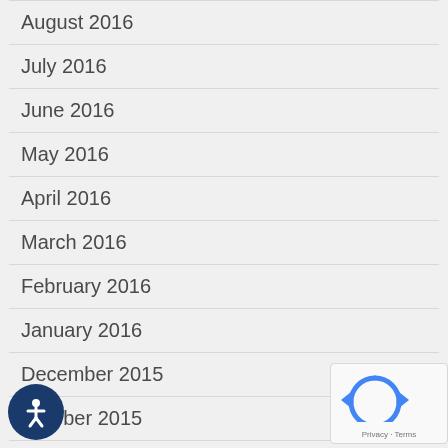August 2016
July 2016
June 2016
May 2016
April 2016
March 2016
February 2016
January 2016
December 2015
October 2015
September 2015